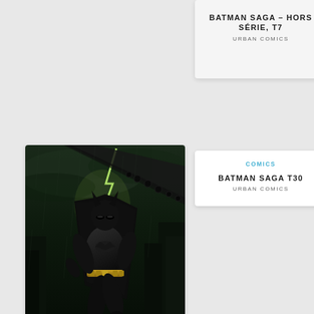BATMAN SAGA – HORS SÉRIE, T7
URBAN COMICS
COMICS
BATMAN SAGA T30
URBAN COMICS
[Figure (photo): Batman Eternal Tome 1 comic book cover showing Batman running through stormy city with lightning, dark action scene]
COMICS
BATMAN ETERNAL T1
URBAN COMICS